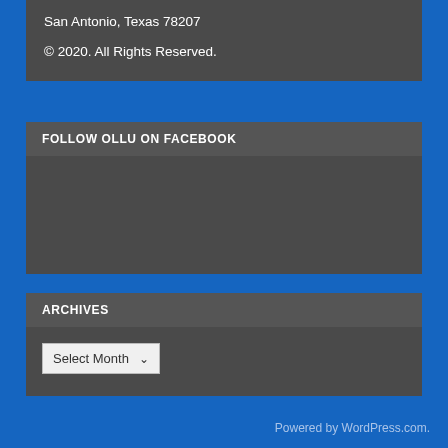San Antonio, Texas 78207
© 2020. All Rights Reserved.
FOLLOW OLLU ON FACEBOOK
ARCHIVES
Select Month
Powered by WordPress.com.